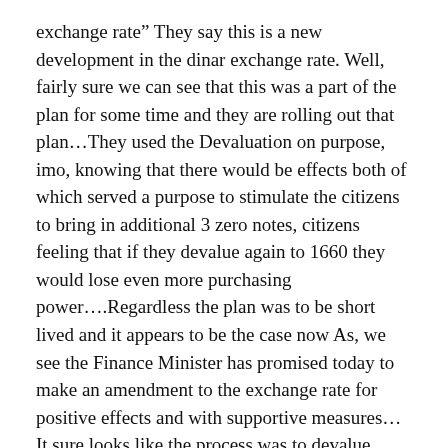exchange rate” They say this is a new development in the dinar exchange rate. Well, fairly sure we can see that this was a part of the plan for some time and they are rolling out that plan…They used the Devaluation on purpose, imo, knowing that there would be effects both of which served a purpose to stimulate the citizens to bring in additional 3 zero notes, citizens feeling that if they devalue again to 1660 they would lose even more purchasing power….Regardless the plan was to be short lived and it appears to be the case now As, we see the Finance Minister has promised today to make an amendment to the exchange rate for positive effects and with supportive measures…It sure looks like the process was to devalue ahead of the revaluation to come as part of the plan has legs. The US Fed told us they can Devalue and Revalue and it appears to be holding true.
dinarguru.com